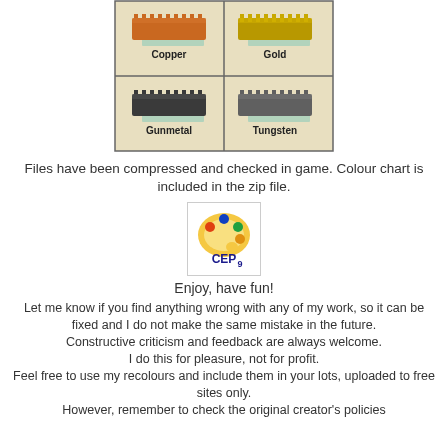[Figure (illustration): Colour chart showing four metal bar recolours in a 2x2 grid: Copper (orange-brown), Gold (yellow-gold), Gunmetal (dark grey), Tungsten (medium grey)]
Files have been compressed and checked in game. Colour chart is included in the zip file.
[Figure (logo): CEP9 logo - a palette icon with the text CEP9 in blue]
Enjoy, have fun!
Let me know if you find anything wrong with any of my work, so it can be fixed and I do not make the same mistake in the future.
Constructive criticism and feedback are always welcome.
I do this for pleasure, not for profit.
Feel free to use my recolours and include them in your lots, uploaded to free sites only.
However, remember to check the original creator's policies